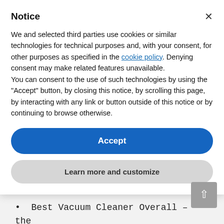Notice
We and selected third parties use cookies or similar technologies for technical purposes and, with your consent, for other purposes as specified in the cookie policy. Denying consent may make related features unavailable.
You can consent to the use of such technologies by using the “Accept” button, by closing this notice, by scrolling this page, by interacting with any link or button outside of this notice or by continuing to browse otherwise.
Accept
Learn more and customize
you. To help your decision, we listed what each model is best used for, as follows:
Best Vacuum Cleaner Overall – the